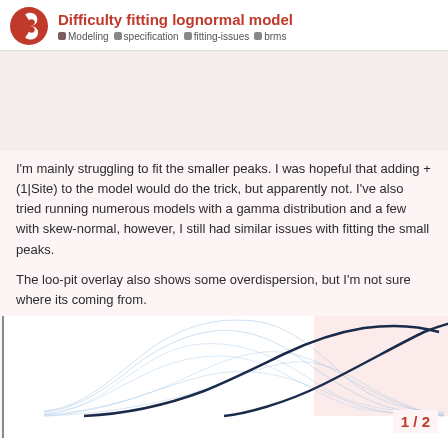Difficulty fitting lognormal model
Modeling   specification   fitting-issues   brms
[Figure (other): Blank pinkish placeholder image area at top of post content]
I'm mainly struggling to fit the smaller peaks. I was hopeful that adding + (1|Site) to the model would do the trick, but apparently not. I've also tried running numerous models with a gamma distribution and a few with skew-normal, however, I still had similar issues with fitting the small peaks.

The loo-pit overlay also shows some overdispersion, but I'm not sure where its coming from.
[Figure (continuous-plot): Partially visible loo-pit overlay chart showing multiple overlapping bell-shaped curves. Light blue thin lines and a prominent dark navy curve, with a pink/salmon shaded region at the right side.]
1 / 2